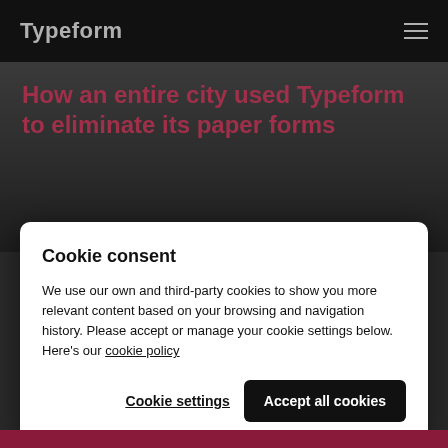Typeform
How an entire city used Typeform to eliminate its paper forms
Cookie consent
We use our own and third-party cookies to show you more relevant content based on your browsing and navigation history. Please accept or manage your cookie settings below. Here's our cookie policy
Cookie settings
Accept all cookies